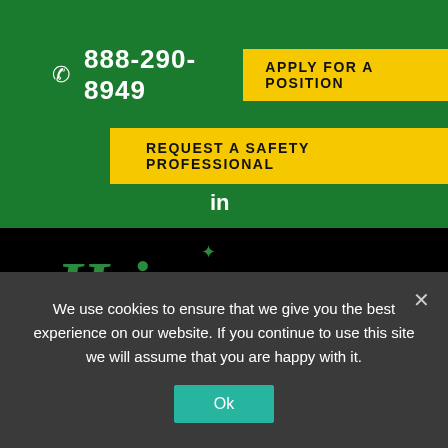📞 888-290-8949  APPLY FOR A POSITION  REQUEST A SAFETY PROFESSIONAL
[Figure (logo): HealthSafe Safety Services logo with stylized HSI text in green on black navigation bar]
According to LIberty Mutual Insurance, there are three huge risks of our country's current manufacturing labor
We use cookies to ensure that we give you the best experience on our website. If you continue to use this site we will assume that you are happy with it.
Ok